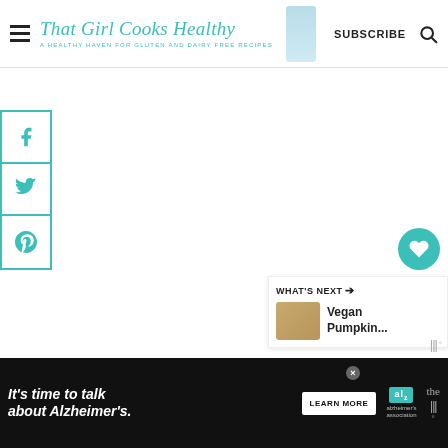That Girl Cooks Healthy — A healthy haven for gluten and dairy free recipes
[Figure (screenshot): Website social share sidebar with Facebook, Twitter, and Pinterest icons in teal bordered boxes]
[Figure (screenshot): Heart (save) button and share button on the right side of the page]
[Figure (screenshot): What's Next panel showing Vegan Pumpkin... article with food thumbnail]
[Figure (screenshot): Alzheimer's Association advertisement banner: It's time to talk about Alzheimer's. Learn More.]